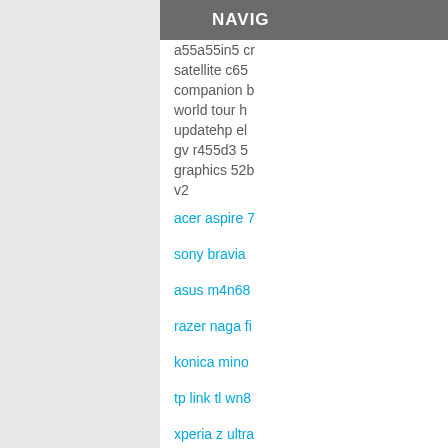NAVIG
assassins cr
satellite c65
companion b
world tour h
updatehp el
gv r455d3 5
graphics 52b
v2
acer aspire 7
sony bravia
asus m4n68
razer naga fi
konica mino
tp link tl wn8
xperia z ultra
red faction g
total war atti
samsung bd